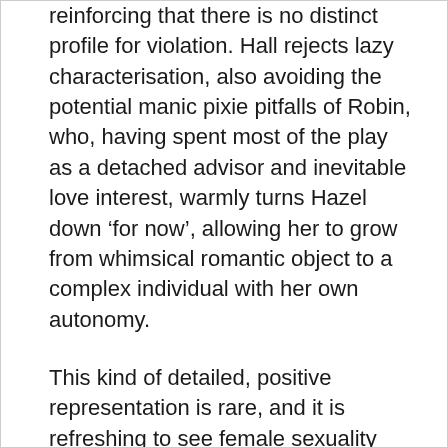reinforcing that there is no distinct profile for violation. Hall rejects lazy characterisation, also avoiding the potential manic pixie pitfalls of Robin, who, having spent most of the play as a detached advisor and inevitable love interest, warmly turns Hazel down ‘for now’, allowing her to grow from whimsical romantic object to a complex individual with her own autonomy.
This kind of detailed, positive representation is rare, and it is refreshing to see female sexuality being celebrated and normalised – for example, Erin’s pride in her lovebites (‘I feel like I’ve been mutilated…but like…in a good way’). V-Card manages to simultaneously celebrate sex whilst also debunking society’s obsession with virginity,